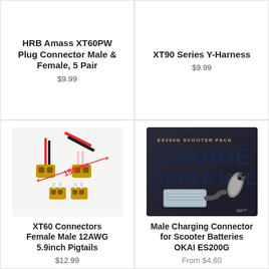HRB Amass XT60PW Plug Connector Male & Female, 5 Pair
$9.99
XT90 Series Y-Harness
$9.99
[Figure (photo): XT60 connectors pigtail with red and black wires, labeled 150mm]
XT60 Connectors Female Male 12AWG 5.9inch Pigtails
$12.99
[Figure (photo): ES200G Scooter Pack Charge Cable Male product image with gray charger and cable connector]
Male Charging Connector for Scooter Batteries OKAI ES200G
From $4.60